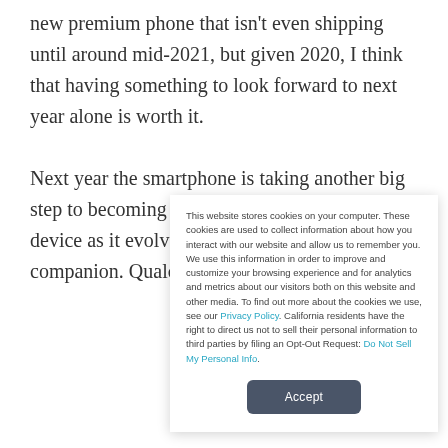new premium phone that isn't even shipping until around mid-2021, but given 2020, I think that having something to look forward to next year alone is worth it.

Next year the smartphone is taking another big step to becoming more than a communications device as it evolves into the perfect digital companion. Qualcomm is driving a
This website stores cookies on your computer. These cookies are used to collect information about how you interact with our website and allow us to remember you. We use this information in order to improve and customize your browsing experience and for analytics and metrics about our visitors both on this website and other media. To find out more about the cookies we use, see our Privacy Policy. California residents have the right to direct us not to sell their personal information to third parties by filing an Opt-Out Request: Do Not Sell My Personal Info.
Accept